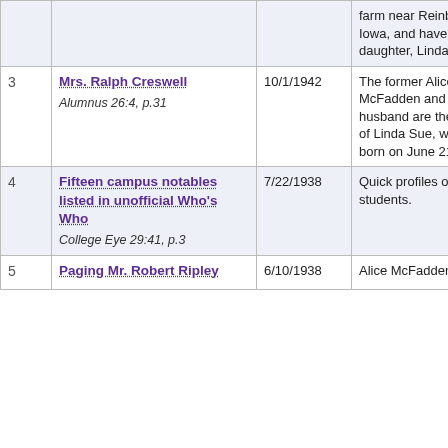| # | Title / Source | Date | Description |
| --- | --- | --- | --- |
|  | farm near Reinbeck, Iowa, and have another daughter, Linda Sue. |  |  |
| 3 | Mrs. Ralph Creswell
Alumnus 26:4, p.31 | 10/1/1942 | The former Alice McFadden and her husband are the parents of Linda Sue, who was born on June 21, 1942. |
| 4 | Fifteen campus notables listed in unofficial Who's Who
College Eye 29:41, p.3 | 7/22/1938 | Quick profiles of leading students. |
| 5 | Paging Mr. Robert Ripley | 6/10/1938 | Alice McFadden |